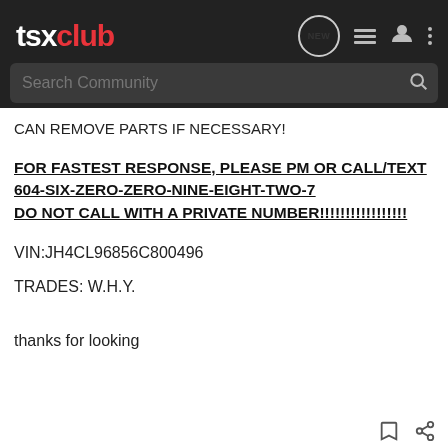tsx club — navigation bar with search
CAN REMOVE PARTS IF NECESSARY!
FOR FASTEST RESPONSE, PLEASE PM OR CALL/TEXT 604-SIX-ZERO-ZERO-NINE-EIGHT-TWO-7 DO NOT CALL WITH A PRIVATE NUMBER!!!!!!!!!!!!!!!!!
VIN:JH4CL96856C800496
TRADES: W.H.Y.
thanks for looking